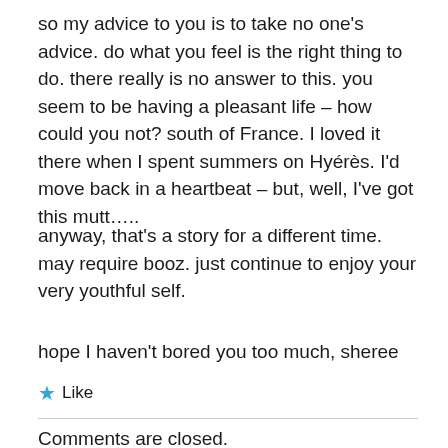so my advice to you is to take no one's advice. do what you feel is the right thing to do. there really is no answer to this. you seem to be having a pleasant life – how could you not? south of France. I loved it there when I spent summers on Hyérès. I'd move back in a heartbeat – but, well, I've got this mutt…..
anyway, that's a story for a different time.  may require booz. just continue to enjoy your very youthful self.
hope I haven't bored you too much, sheree
★ Like
Comments are closed.